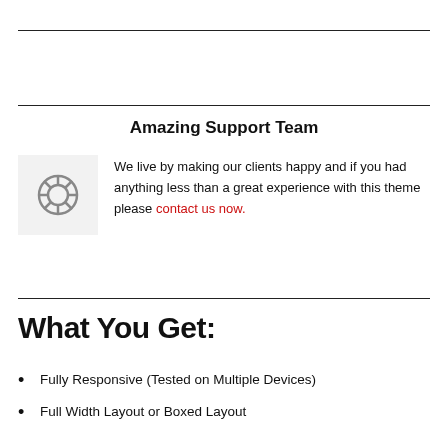Amazing Support Team
We live by making our clients happy and if you had anything less than a great experience with this theme please contact us now.
What You Get:
Fully Responsive (Tested on Multiple Devices)
Full Width Layout or Boxed Layout